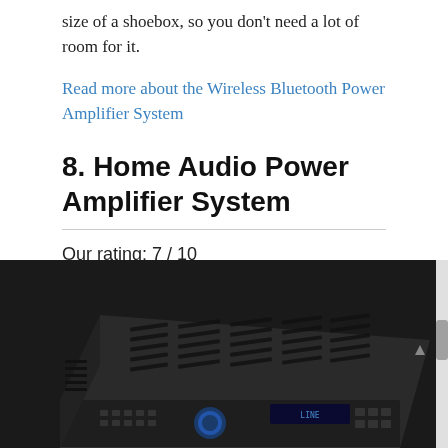size of a shoebox, so you don't need a lot of room for it.
Read more about the Wireless Bluetooth Power Amplifier System
8. Home Audio Power Amplifier System
Our rating: 7 / 10
[Figure (photo): Photo of a black home audio power amplifier unit, shown in perspective view from the front-left, with ventilation slots on top, a blue volume knob, control buttons, and a small display on the front panel.]